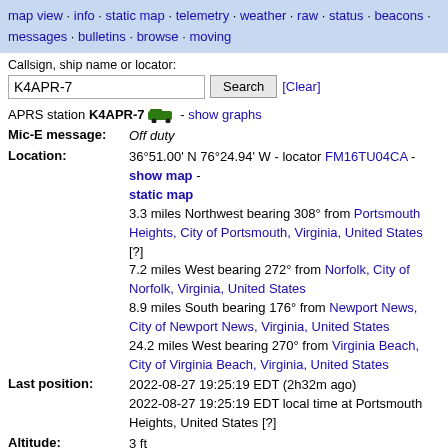map view · info · static map · telemetry · weather · raw · status · beacons · messages · bulletins · browse · moving
Callsign, ship name or locator:
K4APR-7  Search  [Clear]
APRS station K4APR-7 [icon] - show graphs
| Field | Value |
| --- | --- |
| Mic-E message: | Off duty |
| Location: | 36°51.00' N 76°24.94' W - locator FM16TU04CA - show map - static map
3.3 miles Northwest bearing 308° from Portsmouth Heights, City of Portsmouth, Virginia, United States [?]
7.2 miles West bearing 272° from Norfolk, City of Norfolk, Virginia, United States
8.9 miles South bearing 176° from Newport News, City of Newport News, Virginia, United States
24.2 miles West bearing 270° from Virginia Beach, City of Virginia Beach, Virginia, United States |
| Last position: | 2022-08-27 19:25:19 EDT (2h32m ago)
2022-08-27 19:25:19 EDT local time at Portsmouth Heights, United States [?] |
| Altitude: | 3 ft |
| Course: | 126° |
| Speed: | 25 MPH |
| Device: | Kenwood: TM-D710 (rig) |
| Last path: | K4APR-7>SVUQ0P via KE4KDY-5*,WIDE1*,WIDE2- |